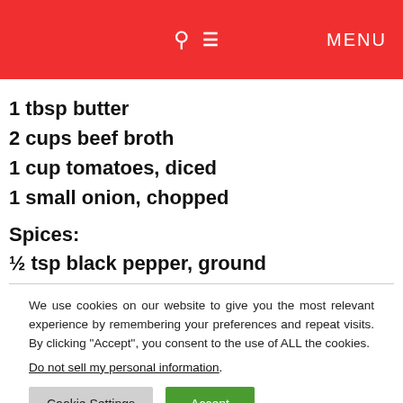MENU
1 tbsp butter
2 cups beef broth
1 cup tomatoes, diced
1 small onion, chopped
Spices:
½ tsp black pepper, ground
We use cookies on our website to give you the most relevant experience by remembering your preferences and repeat visits. By clicking “Accept”, you consent to the use of ALL the cookies.
Do not sell my personal information.